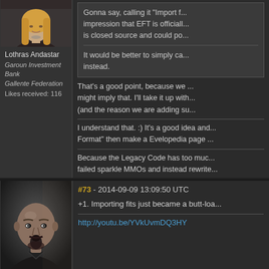[Figure (photo): Avatar of Lothras Andastar - woman with long blonde hair, dark background]
Lothras Andastar
Garoun Investment Bank
Gallente Federation
Likes received: 116
Gonna say, calling it "Import f... impression that EFT is officiall... is closed source and could po...
It would be better to simply ca... instead.
That's a good point, because we... might imply that. I'll take it up with... (and the reason we are adding su...
I understand that. :) It's a good idea and... Format" then make a Evelopedia page ...
Because the Legacy Code has too muc... failed sparkle MMOs and instead rewrite...
#73 - 2014-09-09 13:09:50 UTC
+1. Importing fits just became a butt-loa...
http://youtu.be/YVkUvmDQ3HY
[Figure (photo): Avatar of a bald man with goatee, dark dramatic lighting]